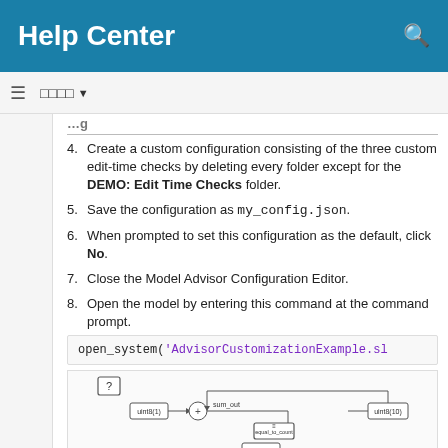Help Center
4. Create a custom configuration consisting of the three custom edit-time checks by deleting every folder except for the DEMO: Edit Time Checks folder.
5. Save the configuration as my_config.json.
6. When prompted to set this configuration as the default, click No.
7. Close the Model Advisor Configuration Editor.
8. Open the model by entering this command at the command prompt.
open_system('AdvisorCustomizationExample.sl
[Figure (screenshot): Simulink model diagram showing blocks including uint8(1), a sum block labeled sum_out, equal_to_count block, uint8(10) block, and other connected blocks with a question mark block.]